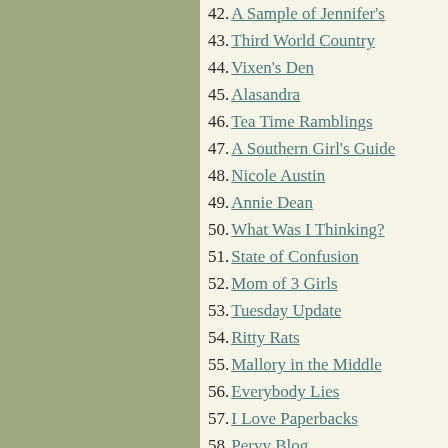42. A Sample of Jennifer's
43. Third World Country
44. Vixen's Den
45. Alasandra
46. Tea Time Ramblings
47. A Southern Girl's Guide
48. Nicole Austin
49. Annie Dean
50. What Was I Thinking?
51. State of Confusion
52. Mom of 3 Girls
53. Tuesday Update
54. Ritty Rats
55. Mallory in the Middle
56. Everybody Lies
57. I Love Paperbacks
58. Pervy Blog